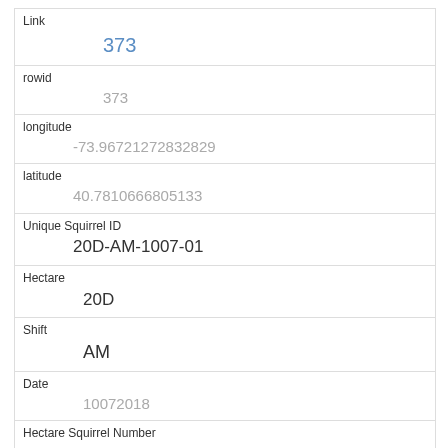| Field | Value |
| --- | --- |
| Link | 373 |
| rowid | 373 |
| longitude | -73.96721272832829 |
| latitude | 40.7810666805133 |
| Unique Squirrel ID | 20D-AM-1007-01 |
| Hectare | 20D |
| Shift | AM |
| Date | 10072018 |
| Hectare Squirrel Number | 1 |
| Age | Adult |